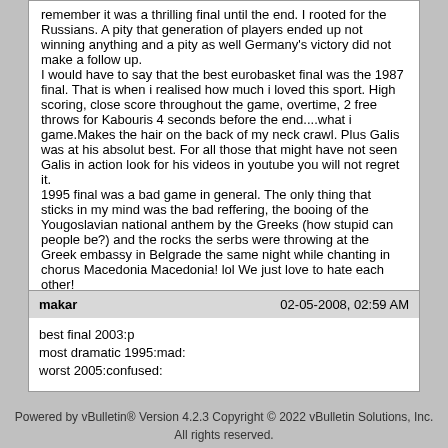remember it was a thrilling final until the end. I rooted for the Russians. A pity that generation of players ended up not winning anything and a pity as well Germany's victory did not make a follow up.
I would have to say that the best eurobasket final was the 1987 final. That is when i realised how much i loved this sport. High scoring, close score throughout the game, overtime, 2 free throws for Kabouris 4 seconds before the end....what i game.Makes the hair on the back of my neck crawl. Plus Galis was at his absolut best. For all those that might have not seen Galis in action look for his videos in youtube you will not regret it.
1995 final was a bad game in general. The only thing that sticks in my mind was the bad reffering, the booing of the Yougoslavian national anthem by the Greeks (how stupid can people be?) and the rocks the serbs were throwing at the Greek embassy in Belgrade the same night while chanting in chorus Macedonia Macedonia! lol We just love to hate each other!

Cheers!
makar	02-05-2008, 02:59 AM
best final 2003:p
most dramatic 1995:mad:
worst 2005:confused:
Powered by vBulletin® Version 4.2.3 Copyright © 2022 vBulletin Solutions, Inc.
All rights reserved.